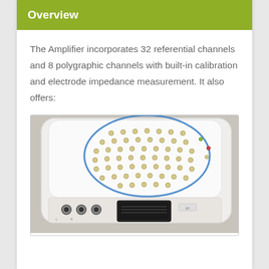Overview
The Amplifier incorporates 32 referential channels and 8 polygraphic channels with built-in calibration and electrode impedance measurement. It also offers:
[Figure (photo): Photo of a white medical EEG amplifier device showing electrode connectors on the top surface arranged in a grid pattern with a blue circle drawn around the central electrode grid, and ports/connectors visible on the front side including audio jacks and a data connector.]